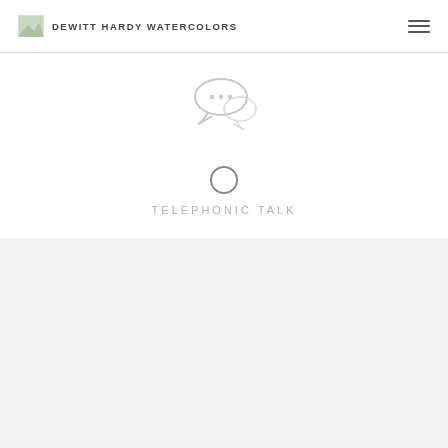DeWitt Hardy Watercolors
[Figure (illustration): Speech bubble / chat icon with three dots inside, light gray outline style]
[Figure (other): Empty circle (radio button style), gray outline]
TELEPHONIC TALK